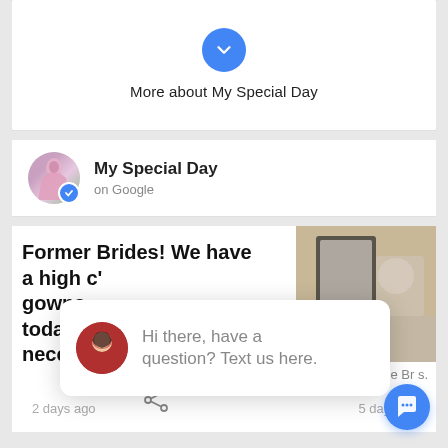[Figure (screenshot): Mobile app UI screenshot showing a business profile page for 'My Special Day' on Google, with a collapse/expand chevron button, business name with verified badge, a post about former brides with partial text, a chat widget popup saying 'Hi there, have a question? Text us here.', share and date footers, and a blue chat FAB button.]
More about My Special Day
My Special Day
on Google
Former Brides! We have a high c' gowns. today! f neces s
Hi there, have a question? Text us here.
close
2 days ago
for the Br s.
5 days ago